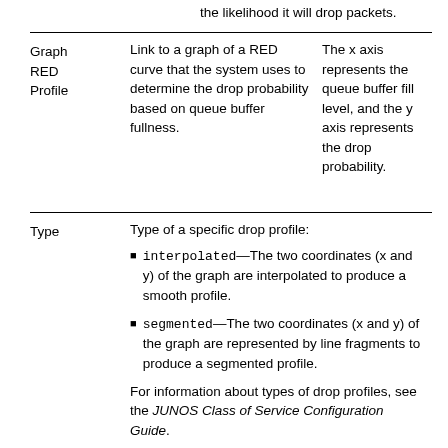the likelihood it will drop packets.
| Field | Description | Notes |
| --- | --- | --- |
| Graph RED Profile | Link to a graph of a RED curve that the system uses to determine the drop probability based on queue buffer fullness. | The x axis represents the queue buffer fill level, and the y axis represents the drop probability. |
Type of a specific drop profile:
interpolated—The two coordinates (x and y) of the graph are interpolated to produce a smooth profile.
segmented—The two coordinates (x and y) of the graph are represented by line fragments to produce a segmented profile.
For information about types of drop profiles, see the JUNOS Class of Service Configuration Guide.